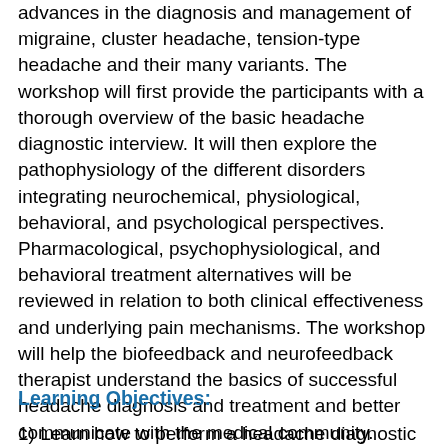advances in the diagnosis and management of migraine, cluster headache, tension-type headache and their many variants. The workshop will first provide the participants with a thorough overview of the basic headache diagnostic interview. It will then explore the pathophysiology of the different disorders integrating neurochemical, physiological, behavioral, and psychological perspectives. Pharmacological, psychophysiological, and behavioral treatment alternatives will be reviewed in relation to both clinical effectiveness and underlying pain mechanisms. The workshop will help the biofeedback and neurofeedback therapist understand the basics of successful headache diagnosis and treatment and better communicate with the medical community. Behavioral and psychophysiological protocols will be thoroughly discussed. Chronic daily headache and chronic migraine will be extensively examined including the transformation process from episodic to chronic headache. Issues of psychiatric co-morbidity will be explored. Numerous cases will be presented to help the learning process.
Learning Objectives:
1) Learn how to perform a headache diagnostic interview to